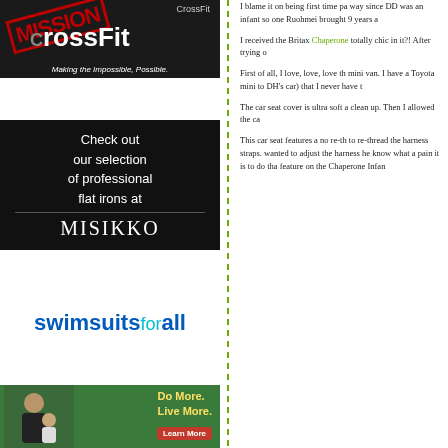[Figure (advertisement): Mission CrossFit advertisement - 'Making the Impossible, Possible.']
[Figure (advertisement): Misikko flat irons advertisement - 'Check out our selection of professional flat irons at MISIKKO']
[Figure (advertisement): swimsuitsforall advertisement]
[Figure (advertisement): Do More. Live More. Learn More advertisement with woman and child]
I blame it on being first time pa way since DD was an infant so one Ruohmei brought 9 years a
I received the Britax Chaperone totally chic in it?! After trying o
First of all, I love, love, love th mini van. I have a Toyota mini to DH's car) that I never have t
The car seat cover is ultra soft a clean up. Then I allowed the ca
This car seat features a no re-th to re-thread the harness straps. wanted to adjust the harness he know what a pain it is to do tha feature on the Chaperone Infan